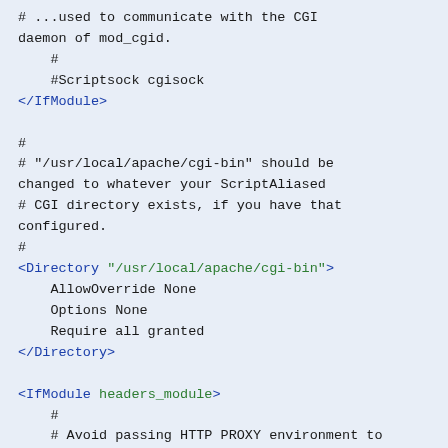# ...used to communicate with the CGI daemon of mod_cgid.
    #
    #Scriptsock cgisock
</IfModule>

#
# "/usr/local/apache/cgi-bin" should be changed to whatever your ScriptAliased
# CGI directory exists, if you have that configured.
#
<Directory "/usr/local/apache/cgi-bin">
    AllowOverride None
    Options None
    Require all granted
</Directory>

<IfModule headers_module>
    #
    # Avoid passing HTTP PROXY environment to